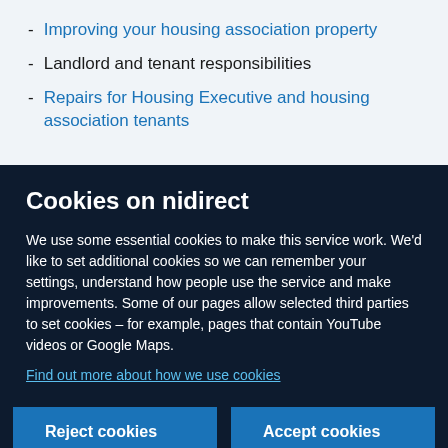Improving your housing association property
Landlord and tenant responsibilities
Repairs for Housing Executive and housing association tenants
Cookies on nidirect
We use some essential cookies to make this service work. We'd like to set additional cookies so we can remember your settings, understand how people use the service and make improvements. Some of our pages allow selected third parties to set cookies – for example, pages that contain YouTube videos or Google Maps.
Find out more about how we use cookies
Reject cookies
Accept cookies